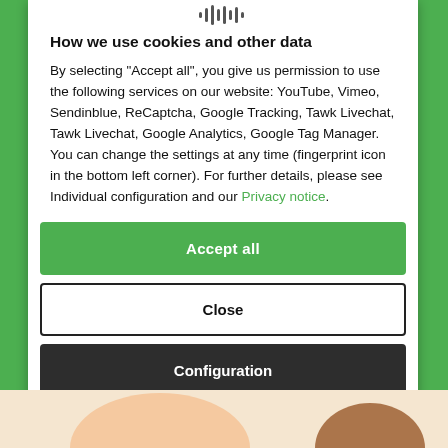[Figure (logo): Small fingerprint/audio waveform icon at top of modal]
How we use cookies and other data
By selecting "Accept all", you give us permission to use the following services on our website: YouTube, Vimeo, Sendinblue, ReCaptcha, Google Tracking, Tawk Livechat, Tawk Livechat, Google Analytics, Google Tag Manager. You can change the settings at any time (fingerprint icon in the bottom left corner). For further details, please see Individual configuration and our Privacy notice.
Accept all
Close
Configuration
[Figure (illustration): Bottom cartoon illustration partially visible]